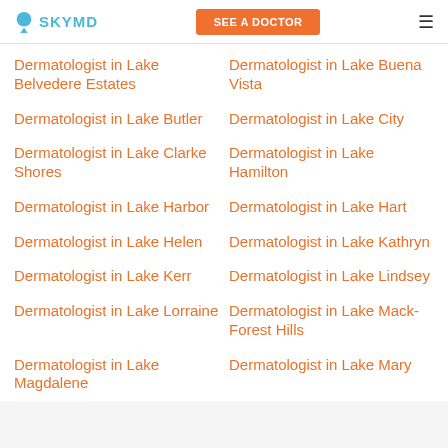SKYMD | SEE A DOCTOR
Dermatologist in Lake Belvedere Estates
Dermatologist in Lake Buena Vista
Dermatologist in Lake Butler
Dermatologist in Lake City
Dermatologist in Lake Clarke Shores
Dermatologist in Lake Hamilton
Dermatologist in Lake Harbor
Dermatologist in Lake Hart
Dermatologist in Lake Helen
Dermatologist in Lake Kathryn
Dermatologist in Lake Kerr
Dermatologist in Lake Lindsey
Dermatologist in Lake Lorraine
Dermatologist in Lake Mack-Forest Hills
Dermatologist in Lake Magdalene
Dermatologist in Lake Mary